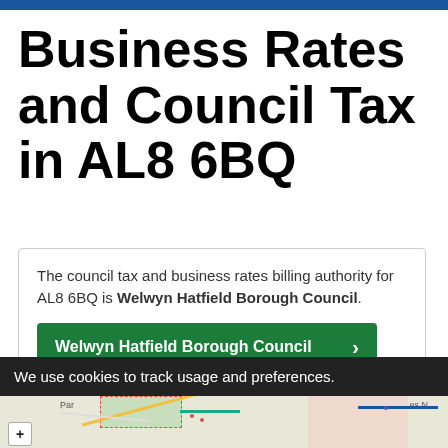Business Rates and Council Tax in AL8 6BQ
The council tax and business rates billing authority for AL8 6BQ is Welwyn Hatfield Borough Council.
Welwyn Hatfield Borough Council
We use cookies to track usage and preferences.
[Figure (map): Street map showing the AL8 6BQ area with road outlines, patches of green and pink land parcels, and map labels including 'Par' and 'es N'.]